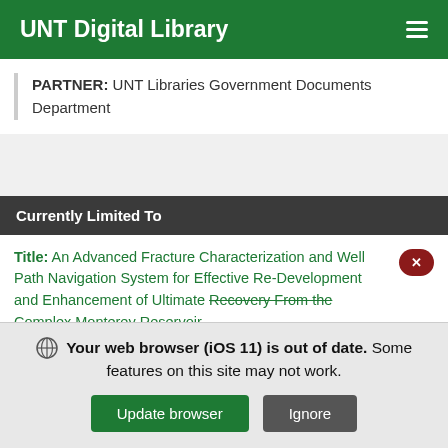UNT Digital Library
PARTNER: UNT Libraries Government Documents Department
Currently Limited To
Title: An Advanced Fracture Characterization and Well Path Navigation System for Effective Re-Development and Enhancement of Ultimate Recovery From the Complex Monterey Reservoir
Your web browser (iOS 11) is out of date. Some features on this site may not work.